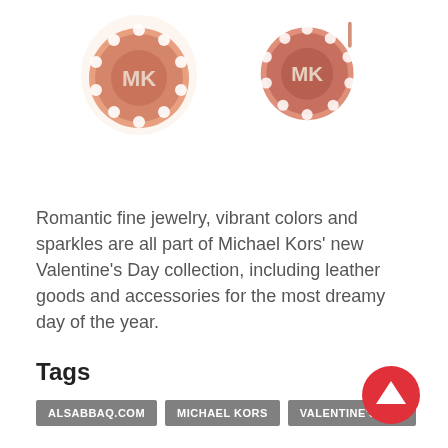[Figure (photo): Two rose gold Michael Kors stud earrings with MK logo centers surrounded by a halo of crystal/diamond-like stones, shown from slightly different angles.]
Romantic fine jewelry, vibrant colors and sparkles are all part of Michael Kors' new Valentine's Day collection, including leather goods and accessories for the most dreamy day of the year.
Tags
ALSABBAQ.COM
MICHAEL KORS
VALENTINE'S DAY